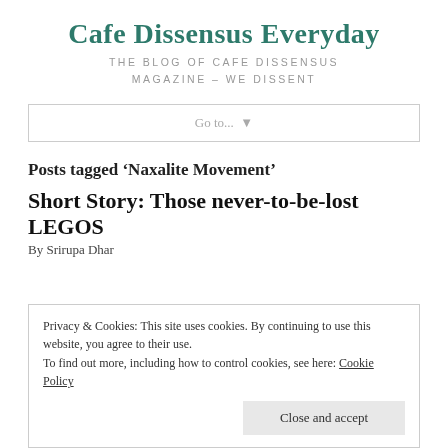Cafe Dissensus Everyday
THE BLOG OF CAFE DISSENSUS MAGAZINE – WE DISSENT
Go to... ▼
Posts tagged 'Naxalite Movement'
Short Story: Those never-to-be-lost LEGOS
By Srirupa Dhar
Privacy & Cookies: This site uses cookies. By continuing to use this website, you agree to their use.
To find out more, including how to control cookies, see here: Cookie Policy
Close and accept